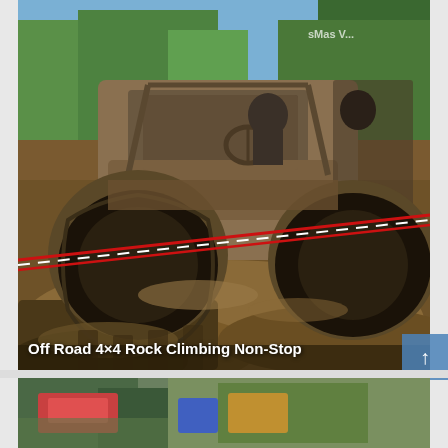[Figure (photo): A heavily mud-covered off-road 4x4 vehicle (resembling a Jeep) plowing through deep mud on a forest trail. The vehicle is completely coated in brown mud, with large aggressive off-road tires visible. Green trees are visible in the background. A red and white barrier tape is stretched across the trail. Two people are visible inside the vehicle. A small watermark 'sMas V...' is visible in the upper right area of the image.]
Off Road 4×4 Rock Climbing Non-Stop
[Figure (photo): Partial view of a second video thumbnail at the bottom of the page, showing colorful imagery partially visible.]